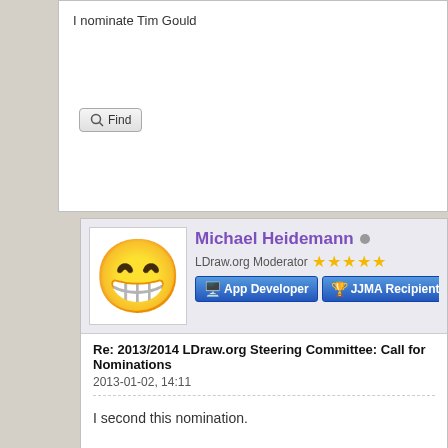I nominate Tim Gould
Find
Michael Heidemann
LDraw.org Moderator ★★★★★
App Developer | JJMA Recipient
Re: 2013/2014 LDraw.org Steering Committee: Call for Nominations
2013-01-02, 14:11
I second this nomination.
Find
Tim Gould
LDraw.org Moderator ★★★★★
Part author